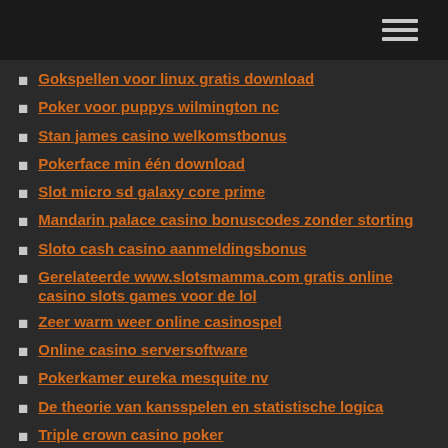Gokspellen voor linux gratis download
Poker voor puppys wilmington nc
Stan james casino welkomstbonus
Pokerface min één download
Slot micro sd galaxy core prime
Mandarin palace casino bonuscodes zonder storting
Sloto cash casino aanmeldingsbonus
Gerelateerde www.slotsmamma.com gratis online casino slots games voor de lol
Zeer warm weer online casinospel
Online casino serversoftware
Pokerkamer eureka mesquite nv
De theorie van kansspelen en statistische logica
Triple crown casino poker